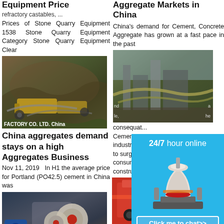Equipment Price
refractory castables, ...
Prices of Stone Quarry Equipment 1538 Stone Quarry Equipment Category Stone Quarry Equipment Clear
[Figure (photo): Mining/quarrying site with heavy machinery and conveyor belts, yellow equipment visible]
FACTORY CO. LTD. China
China aggregates demand stays on a high Aggregates Business
Nov 11, 2019  In H1 the average price for Portland (PO42.5) cement in China was
[Figure (photo): Industrial machinery, jaw crusher or similar equipment with circular grinding wheels, blue motor visible]
a of ne. ral ne tic
Aggregate Markets in China
China's demand for Cement, Concrete Aggregate has grown at a fast pace in the past
[Figure (photo): Quarry or aggregate processing site with industrial structures and machinery]
le, nd he a
consequat... Cement industrial d to surge consumer construc capital ...
The pric aggregate per cent s
[Figure (screenshot): 24/7 hour online chat widget with cone crusher image, Click me to chat button, Enquiry section and limingjlmofen text]
[Figure (photo): Orange construction/mining equipment partially visible]